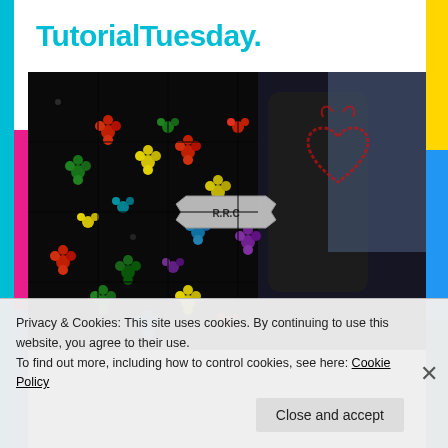TutorialTuesday.
[Figure (photo): A colorful crochet granny square blanket draped over a black chair. The blanket features multicolored flower motifs (red, yellow, green, blue, purple) on a black background. A silver banner pin reads 'R.R.C'. In the background, part of a red heart tattoo graphic is visible.]
Privacy & Cookies: This site uses cookies. By continuing to use this website, you agree to their use.
To find out more, including how to control cookies, see here: Cookie Policy
Close and accept